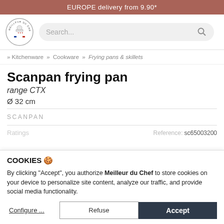EUROPE delivery from 9.90*
[Figure (logo): Meilleur du Chef circular logo with chef hat and stars]
Search...
» Kitchenware » Cookware » Frying pans & skillets
Scanpan frying pan
range CTX
Ø 32 cm
SCANPAN
Ratings
Reference: sc65003200
COOKIES 🍪
By clicking "Accept", you authorize Meilleur du Chef to store cookies on your device to personalize site content, analyze our traffic, and provide social media functionality.
Configure ...
Refuse
Accept